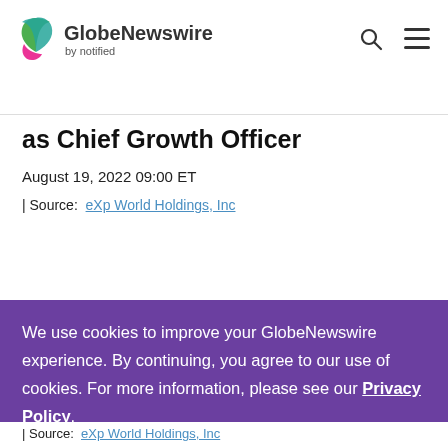GlobeNewswire by notified
as Chief Growth Officer
August 19, 2022 09:00 ET
| Source:  eXp World Holdings, Inc
We use cookies to improve your GlobeNewswire experience. By continuing, you agree to our use of cookies. For more information, please see our Privacy Policy.
ACCEPT
| Source:  eXp World Holdings, Inc